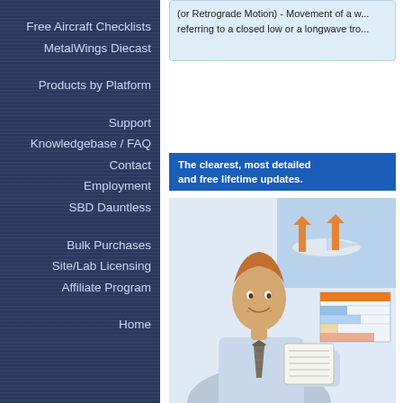Free Aircraft Checklists
MetalWings Diecast
Products by Platform
Support
Knowledgebase / FAQ
Contact
Employment
SBD Dauntless
Bulk Purchases
Site/Lab Licensing
Affiliate Program
Home
(or Retrograde Motion) - Movement of a w... referring to a closed low or a longwave tro...
The clearest, most detailed and free lifetime updates.
[Figure (photo): Young man in business shirt and tie smiling, holding a document, with aviation weather educational materials visible in the background including an airplane diagram and charts.]